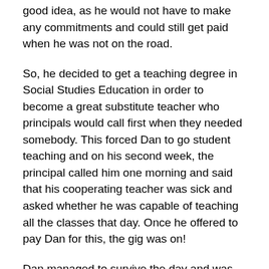good idea, as he would not have to make any commitments and could still get paid when he was not on the road.
So, he decided to get a teaching degree in Social Studies Education in order to become a great substitute teacher who principals would call first when they needed somebody. This forced Dan to go student teaching and on his second week, the principal called him one morning and said that his cooperating teacher was sick and asked whether he was capable of teaching all the classes that day. Once he offered to pay Dan for this, the gig was on!
Dan managed to survive the day and was cleaning up the classroom and closing the windows when he happened to look back at the classroom and had the only epiphany he had ever had in his life – he realized that he was born to be a teacher and that this was what he should be doing with his life.